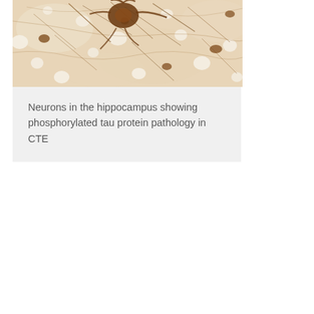[Figure (photo): Microscopy image of neurons in the hippocampus showing phosphorylated tau protein pathology (brown staining) in CTE, with a large neuron visible near the top center against a light beige fibrous background.]
Neurons in the hippocampus showing phosphorylated tau protein pathology in CTE